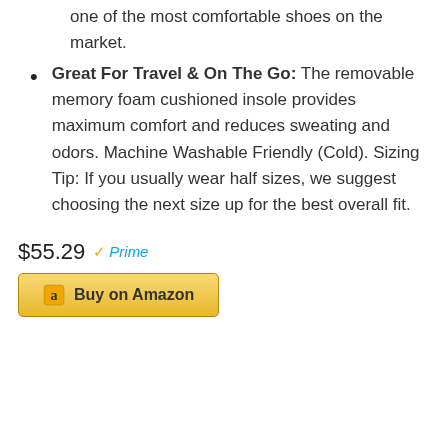one of the most comfortable shoes on the market.
Great For Travel & On The Go: The removable memory foam cushioned insole provides maximum comfort and reduces sweating and odors. Machine Washable Friendly (Cold). Sizing Tip: If you usually wear half sizes, we suggest choosing the next size up for the best overall fit.
$55.29 Prime
[Figure (other): Buy on Amazon button with Amazon logo]